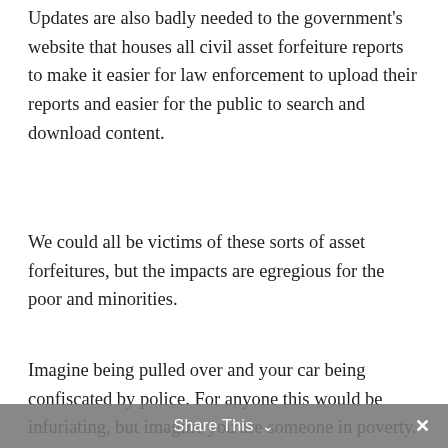Updates are also badly needed to the government's website that houses all civil asset forfeiture reports to make it easier for law enforcement to upload their reports and easier for the public to search and download content.
We could all be victims of these sorts of asset forfeitures, but the impacts are egregious for the poor and minorities.
Imagine being pulled over and your car being confiscated by police. For anyone this would be infuriating, but imagine you are someone in poverty. You likely don't have access to the same network of friends or
Share This ∨  ✕